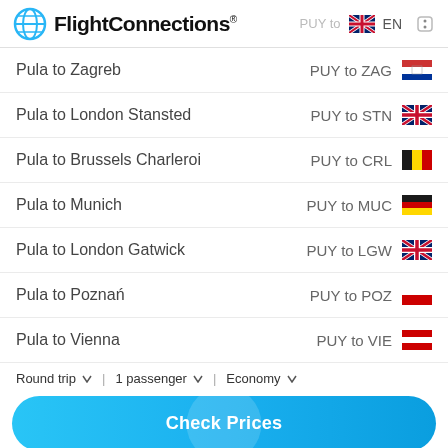FlightConnections® PUY to EN
Pula to Zagreb — PUY to ZAG
Pula to London Stansted — PUY to STN
Pula to Brussels Charleroi — PUY to CRL
Pula to Munich — PUY to MUC
Pula to London Gatwick — PUY to LGW
Pula to Poznań — PUY to POZ
Pula to Vienna — PUY to VIE
Round trip  1 passenger  Economy
Check Prices